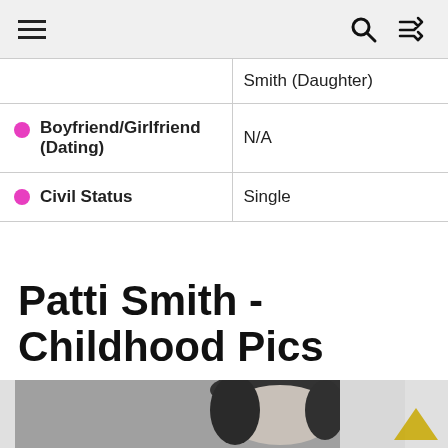Navigation bar with hamburger menu, search, and shuffle icons
| Category | Value |
| --- | --- |
|  | Smith (Daughter) |
| Boyfriend/Girlfriend (Dating) | N/A |
| Civil Status | Single |
Patti Smith - Childhood Pics
[Figure (photo): Black and white photo of a young Patti Smith with dark short hair, looking at the camera]